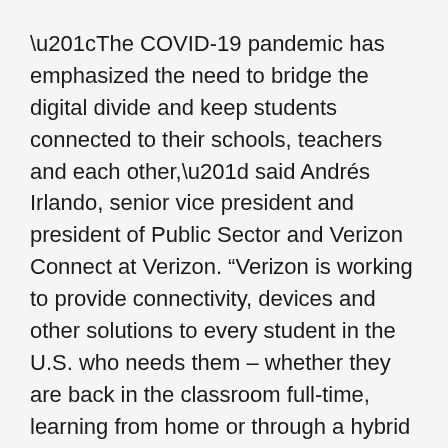“The COVID-19 pandemic has emphasized the need to bridge the digital divide and keep students connected to their schools, teachers and each other,” said Andrés Irlando, senior vice president and president of Public Sector and Verizon Connect at Verizon. “Verizon is working to provide connectivity, devices and other solutions to every student in the U.S. who needs them – whether they are back in the classroom full-time, learning from home or through a hybrid model.”
Verizon expects to ship hotspots to districts so that they will be available when school starts. The company will also provide technical support throughout the school year.
Districts have the opportunity to purchase additional